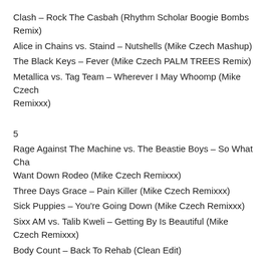Clash – Rock The Casbah (Rhythm Scholar Boogie Bombs Remix)
Alice in Chains vs. Staind – Nutshells (Mike Czech Mashup)
The Black Keys – Fever (Mike Czech PALM TREES Remix)
Metallica vs. Tag Team – Wherever I May Whoomp (Mike Czech Remixxx)
5
Rage Against The Machine vs. The Beastie Boys – So What Cha Want Down Rodeo (Mike Czech Remixxx)
Three Days Grace – Pain Killer (Mike Czech Remixxx)
Sick Puppies – You're Going Down (Mike Czech Remixxx)
Sixx AM vs. Talib Kweli – Getting By Is Beautiful (Mike Czech Remixxx)
Body Count – Back To Rehab (Clean Edit)
6
Metallica – Seek and Destroy (Bassnectar Remix)